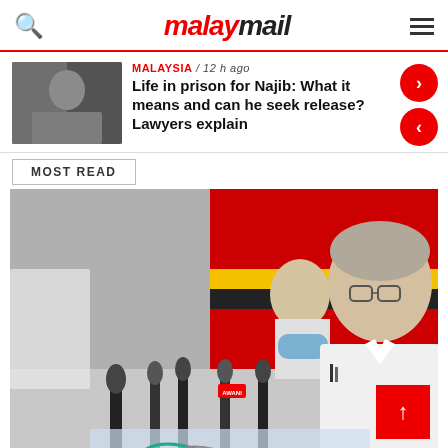malaymail
MALAYSIA / 12 h ago
Life in prison for Najib: What it means and can he seek release? Lawyers explain
MOST READ
[Figure (photo): Elderly Malaysian politician speaking at a press conference with multiple microphones, wearing a white shirt and glasses; a person in a blue mask visible in background; Sarawak flag in background.]